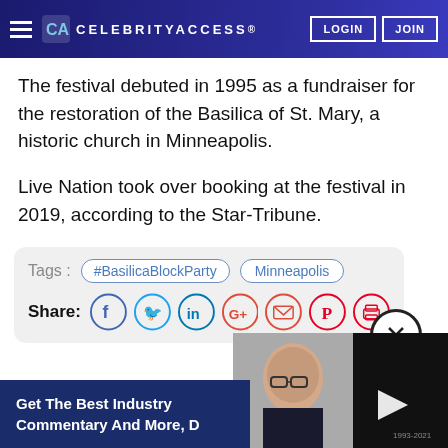CELEBRITYACCESS. LOGIN JOIN
The festival debuted in 1995 as a fundraiser for the restoration of the Basilica of St. Mary, a historic church in Minneapolis.
Live Nation took over booking at the festival in 2019, according to the Star-Tribune.
Tags: #BasilicaBlockParty  Minneapolis  Share:
[Figure (screenshot): Video thumbnail showing a bald man with glasses and a dark jacket, with a play button overlay, and additional content at right. Bottom overlay shows '1993-2021'.]
Get The Best Industry Commentary And More, D...